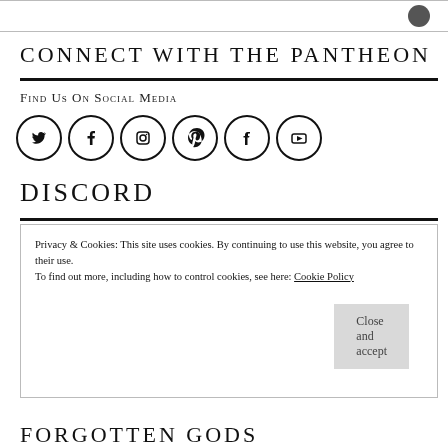CONNECT WITH THE PANTHEON
Find Us On Social Media
[Figure (illustration): Six social media icon circles: Twitter, Facebook, Instagram, Pinterest, Tumblr, YouTube]
DISCORD
Privacy & Cookies: This site uses cookies. By continuing to use this website, you agree to their use. To find out more, including how to control cookies, see here: Cookie Policy
Close and accept
FORGOTTEN GODS